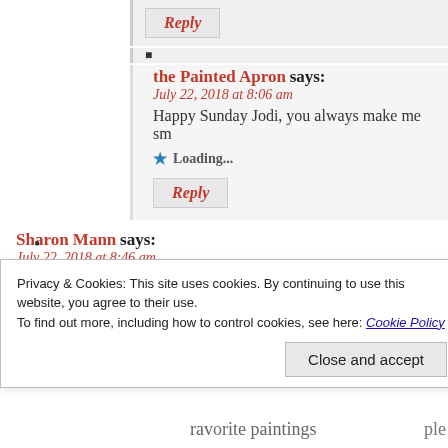Reply
the Painted Apron says:
July 22, 2018 at 8:06 am
Happy Sunday Jodi, you always make me sm
Loading...
Reply
Sharon Mann says:
July 22, 2018 at 8:46 am
There is nothing better than fresh pineapple. today, Jenna!
Loading
Privacy & Cookies: This site uses cookies. By continuing to use this website, you agree to their use.
To find out more, including how to control cookies, see here: Cookie Policy
Close and accept
ravorite paintings